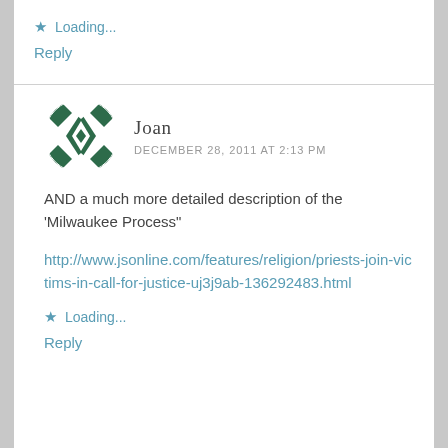★ Loading...
Reply
Joan
DECEMBER 28, 2011 AT 2:13 PM
[Figure (illustration): Circular avatar with green geometric diamond/chevron pattern on white background]
AND a much more detailed description of the 'Milwaukee Process"
http://www.jsonline.com/features/religion/priests-join-victims-in-call-for-justice-uj3j9ab-136292483.html
★ Loading...
Reply